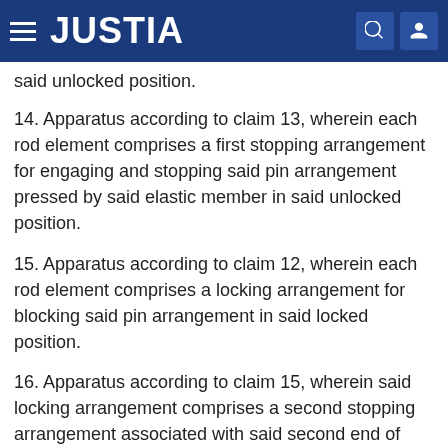JUSTIA
said unlocked position.
14. Apparatus according to claim 13, wherein each rod element comprises a first stopping arrangement for engaging and stopping said pin arrangement pressed by said elastic member in said unlocked position.
15. Apparatus according to claim 12, wherein each rod element comprises a locking arrangement for blocking said pin arrangement in said locked position.
16. Apparatus according to claim 15, wherein said locking arrangement comprises a second stopping arrangement associated with said second end of said tubular body, said second stopping arrangement being movable so as to engage and to stop said pin arrangement in said locking position.